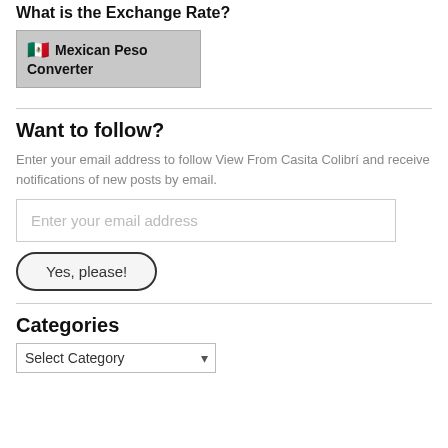What is the Exchange Rate?
[Figure (other): Mexican Peso Converter widget button with Mexican flag emoji, gray background]
Want to follow?
Enter your email address to follow View From Casita Colibrí and receive notifications of new posts by email.
Enter your email address
Yes, please!
Categories
Select Category